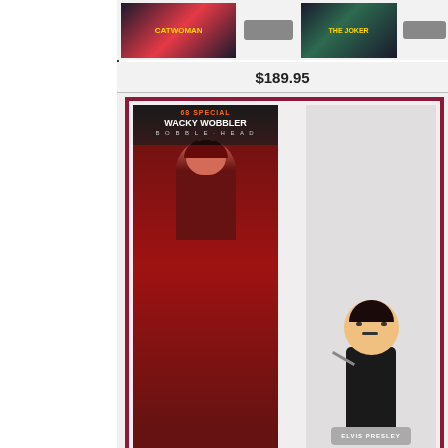[Figure (photo): Top portion showing Catwoman and The Joker bobblehead product images, partially visible at top of page]
$189.95
[Figure (photo): Elvis Presley '68 Special Wacky Wobbler Bobble-Head figure in box with bobblehead figure shown next to packaging. Box shows Elvis in black leather suit with microphone. Brand bar reads 'bObbleWaCky!']
$49.95
[Figure (photo): Elvis Wacky Wobbler Bobble-Head product, partially visible at bottom of page]